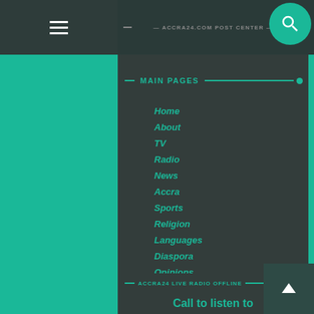ACCRA24.COM POST CENTER
MAIN PAGES
Home
About
TV
Radio
News
Accra
Sports
Religion
Languages
Diaspora
Opinions
Politics
Business
Entertainment
Classifieds
ACCRA24 LIVE RADIO OFFLINE
Call to listen to